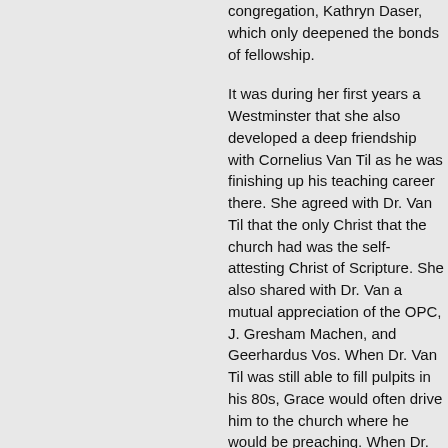congregation, Kathryn Daser, which only deepened the bonds of fellowship.
It was during her first years at Westminster that she also developed a deep friendship with Cornelius Van Til as he was finishing up his teaching career there. She agreed with Dr. Van Til that the only Christ that the church had was the self-attesting Christ of Scripture. She also shared with Dr. Van a mutual appreciation of the OPC, J. Gresham Machen, and Geerhardus Vos. When Dr. Van Til was still able to fill pulpits in his 80s, Grace would often drive him to the church where he would be preaching. When Dr. Van Til officially retired, he gave Grace his marked up copy of